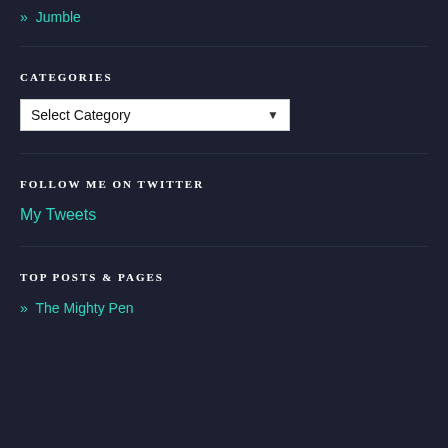» Jumble
CATEGORIES
[Figure (other): Dropdown select box with 'Select Category' placeholder]
FOLLOW ME ON TWITTER
My Tweets
TOP POSTS & PAGES
» The Mighty Pen